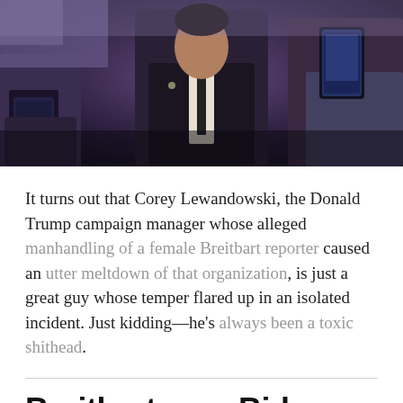[Figure (photo): A dark photo showing a man in a dark suit surrounded by people holding smartphones and recording devices, likely at a press event or political gathering.]
It turns out that Corey Lewandowski, the Donald Trump campaign manager whose alleged manhandling of a female Breitbart reporter caused an utter meltdown of that organization, is just a great guy whose temper flared up in an isolated incident. Just kidding—he's always been a toxic shithead.
Breitbart.com Bids Farewell to